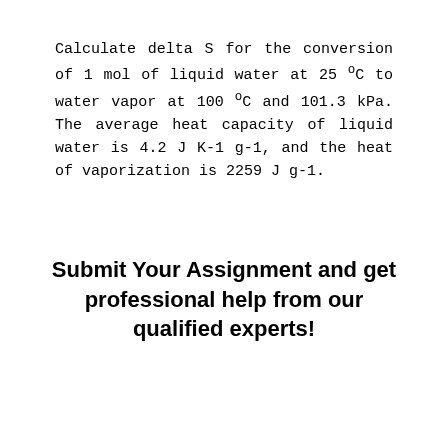Calculate delta S for the conversion of 1 mol of liquid water at 25 ºC to water vapor at 100 ºC and 101.3 kPa. The average heat capacity of liquid water is 4.2 J K-1 g-1, and the heat of vaporization is 2259 J g-1.
Submit Your Assignment and get professional help from our qualified experts!